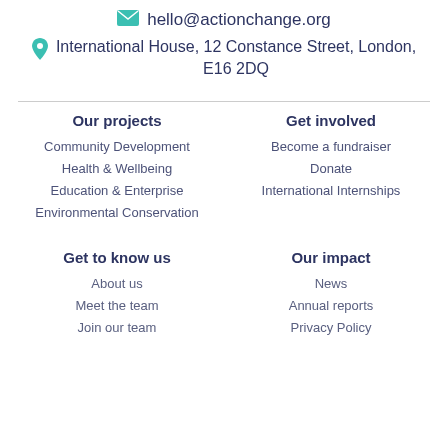hello@actionchange.org
International House, 12 Constance Street, London, E16 2DQ
Our projects
Community Development
Health & Wellbeing
Education & Enterprise
Environmental Conservation
Get involved
Become a fundraiser
Donate
International Internships
Get to know us
About us
Meet the team
Join our team
Our impact
News
Annual reports
Privacy Policy